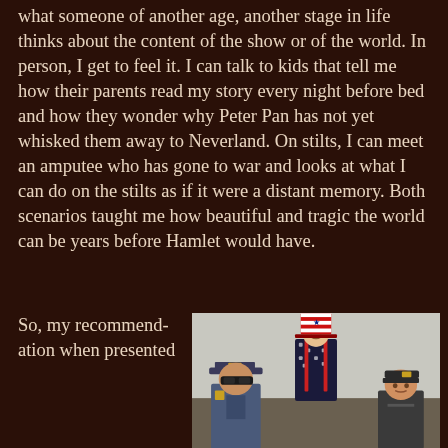what someone of another age, another stage in life thinks about the content of the show or of the world. In person, I get to feel it. I can talk to kids that tell me how their parents read my story every night before bed and how they wonder why Peter Pan has not yet whisked them away to Neverland. On stilts, I can meet an amputee who has gone to war and looks at what I can do on the stilts as if it were a distant memory. Both scenarios taught me how beautiful and tragic the world can be years before Hamlet would have.
So, my recommendation when presented
[Figure (photo): A man on stilts dressed as Uncle Sam in a patriotic star-spangled outfit with red suspenders and a tall red, white and blue top hat, flanked by two other people — one wearing a police officer uniform and cap on the left, and one wearing a dark cap on the right.]